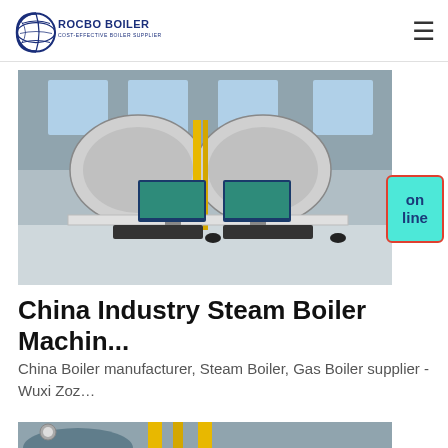ROCBO BOILER - COST-EFFECTIVE BOILER SUPPLIER
[Figure (photo): Industrial boiler machines in a factory setting with two computer monitors on a desk in the foreground, showing control/monitoring software. Large cylindrical boilers visible in the background behind glass.]
[Figure (other): Online chat button — cyan/turquoise rounded rectangle with red border reading 'on line' in dark blue bold text]
China Industry Steam Boiler Machin...
China Boiler manufacturer, Steam Boiler, Gas Boiler supplier - Wuxi Zoz…
[Figure (photo): Partial view of industrial boiler equipment with yellow piping and pressure gauges visible at the bottom of the page.]